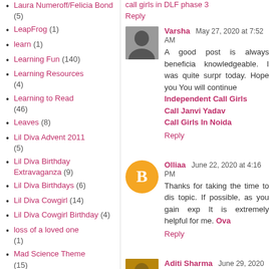Laura Numeroff/Felicia Bond (5)
LeapFrog (1)
learn (1)
Learning Fun (140)
Learning Resources (4)
Learning to Read (46)
Leaves (8)
Lil Diva Advent 2011 (5)
Lil Diva Birthday Extravaganza (9)
Lil Diva Birthdays (6)
Lil Diva Cowgirl (14)
Lil Diva Cowgirl Birthday (4)
loss of a loved one (1)
Mad Science Theme (15)
Mama Monday (1)
Mardi Gras (3)
call girls in DLF phase 3
Reply
Varsha  May 27, 2020 at 7:52 AM
A good post is always beneficial and knowledgeable. I was quite surprised today. Hope you You will continue Independent Call Girls Call Janvi Yadav Call Girls In Noida
Reply
Olliaa  June 22, 2020 at 4:16 PM
Thanks for taking the time to discuss topic. If possible, as you gain expe It is extremely helpful for me. Ova
Reply
Aditi Sharma  June 29, 2020 at 7